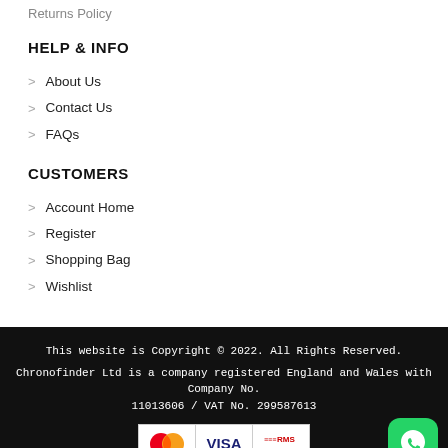Returns Policy
HELP & INFO
About Us
Contact Us
FAQs
CUSTOMERS
Account Home
Register
Shopping Bag
Wishlist
This website is Copyright © 2022. All Rights Reserved. Chronofinder Ltd is a company registered England and Wales with Company No. 11013606 / VAT No. 299587613
[Figure (logo): Payment logos: Mastercard, Visa, RMS]